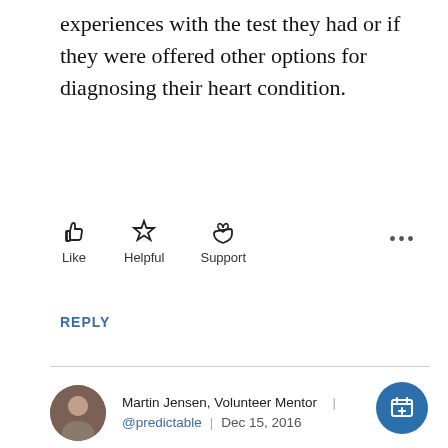experiences with the test they had or if they were offered other options for diagnosing their heart condition.
[Figure (infographic): Three reaction buttons: Like (thumbs up icon), Helpful (star icon), Support (hand with heart icon), and a three-dot more-options button]
REPLY
Martin Jensen, Volunteer Mentor | @predictable | Dec 15, 2016
In reply to @kanaazpereira "Hi @trish602, One of the common side effects of Xarelto (Rivaroxaban), can be back aches, according..." + (show)
Hi, @grandmajan. It's been a few weeks since we exchanged good wishes. I always